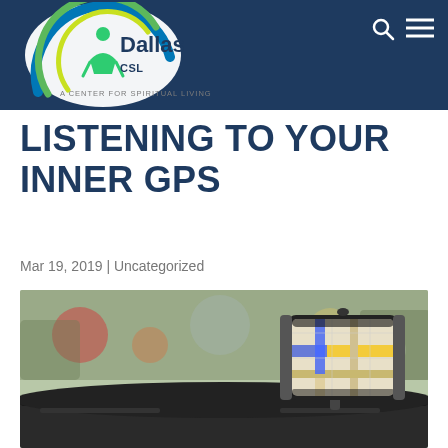CSL Dallas — A Center for Spiritual Living
LISTENING TO YOUR INNER GPS
Mar 19, 2019 | Uncategorized
[Figure (photo): Smartphone mounted on a car dashboard showing a GPS navigation map, with a blurred city street visible through the windshield in the background.]